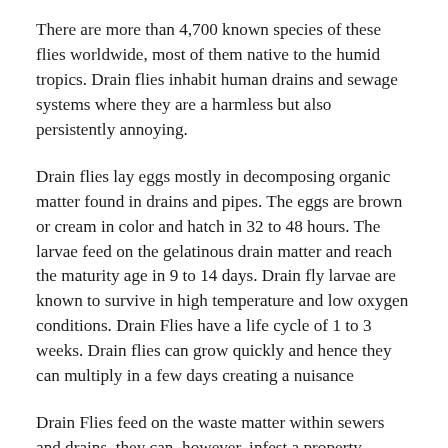There are more than 4,700 known species of these flies worldwide, most of them native to the humid tropics. Drain flies inhabit human drains and sewage systems where they are a harmless but also persistently annoying.
Drain flies lay eggs mostly in decomposing organic matter found in drains and pipes. The eggs are brown or cream in color and hatch in 32 to 48 hours. The larvae feed on the gelatinous drain matter and reach the maturity age in 9 to 14 days. Drain fly larvae are known to survive in high temperature and low oxygen conditions. Drain Flies have a life cycle of 1 to 3 weeks. Drain flies can grow quickly and hence they can multiply in a few days creating a nuisance
Drain Flies feed on the waste matter within sewers and drains, they can, however, infest a property